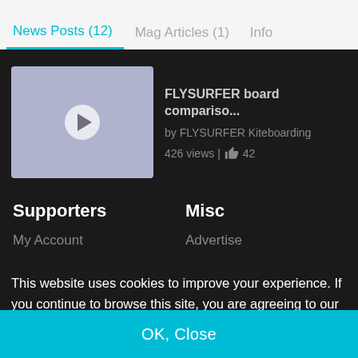News Posts (12)  Mag Articles (1)  Info
[Figure (screenshot): Video thumbnail with play button and FLYSURFER board comparison video info showing title 'FLYSURFER board comparis...', author 'by FLYSURFER Kiteboarding', 426 views, 42 likes]
Supporters
Misc
My Account
Advertise
This website uses cookies to improve your experience. If you continue to browse this site, you are agreeing to our use of cookies. To learn more about the cookies we use, please view our Cookie Policy and Privacy Policy. You can disable cookies at any time within your browser settings.
OK, Close